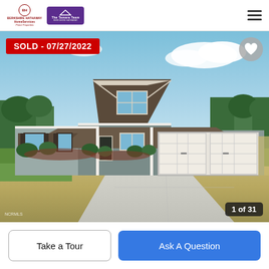[Figure (logo): Berkshire Hathaway HomeServices Prime Properties logo and The Tamara Team logo in header]
[Figure (photo): Exterior photo of a single-story craftsman-style home with brown siding, white trim, covered front porch, two-car garage, concrete driveway, and landscaped front yard. SOLD - 07/27/2022 badge in red overlay. Image counter showing 1 of 31.]
SOLD - 07/27/2022
1 of 31
Take a Tour
Ask A Question